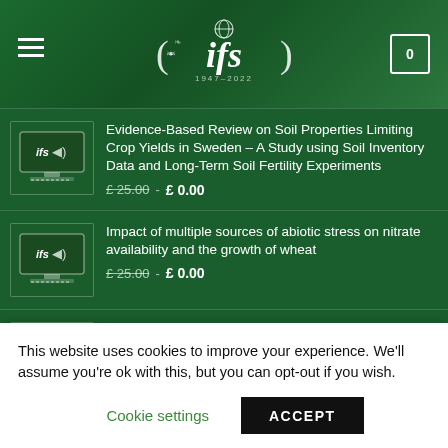ifs 1947-2022
[Figure (screenshot): IFS webinar thumbnail showing monitor with 'ifs' logo and speaker icon]
Evidence-Based Review on Soil Properties Limiting Crop Yields in Sweden – A Study using Soil Inventory Data and Long-Term Soil Fertility Experiments
£ 25.00 - £ 0.00
[Figure (screenshot): IFS webinar thumbnail showing monitor with 'ifs' logo and speaker icon]
Impact of multiple sources of abiotic stress on nitrate availability and the growth of wheat
£ 25.00 - £ 0.00
[Figure (screenshot): IFS webinar thumbnail showing monitor with 'ifs' logo and speaker icon]
Remote Sensing tools for assessment of
This website uses cookies to improve your experience. We'll assume you're ok with this, but you can opt-out if you wish.
Cookie settings    ACCEPT